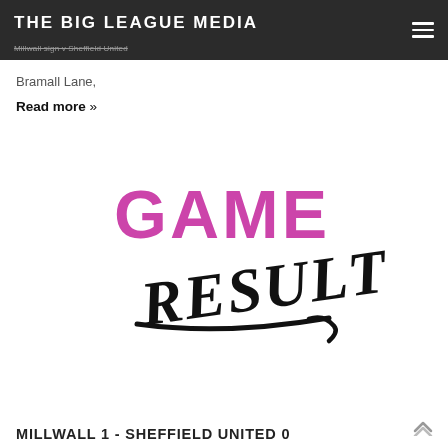THE BIG LEAGUE MEDIA
Bramall Lane,
Read more »
[Figure (logo): Game Result logo — 'GAME' in bold magenta/purple uppercase text, 'RESULT' in bold black handwritten/brush script text with an underline swoosh]
MILLWALL 1 - SHEFFIELD UNITED 0